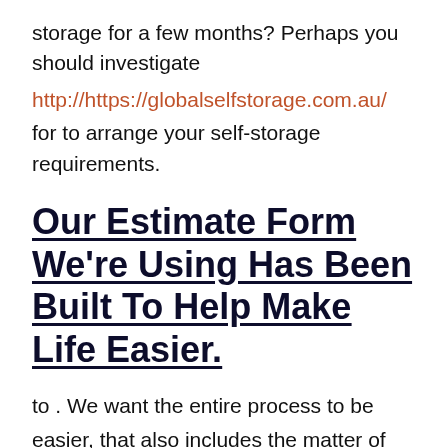storage for a few months? Perhaps you should investigate
http://https://globalselfstorage.com.au/
for to arrange your self-storage requirements.
Our Estimate Form We're Using Has Been Built To Help Make Life Easier.
to . We want the entire process to be easier, that also includes the matter of entering out all the estimate forms. The online estimate form offers